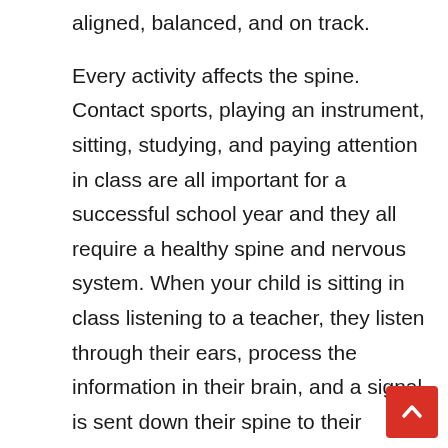aligned, balanced, and on track.
Every activity affects the spine. Contact sports, playing an instrument, sitting, studying, and paying attention in class are all important for a successful school year and they all require a healthy spine and nervous system. When your child is sitting in class listening to a teacher, they listen through their ears, process the information in their brain, and a signal is sent down their spine to their fingers so that they can write their notes which they will later study. If a child is playing an instrument, the instructor often tells them to sit up straight. A healthy spine with good alignment and nerve supply is esse to performance in the classroom and activities.